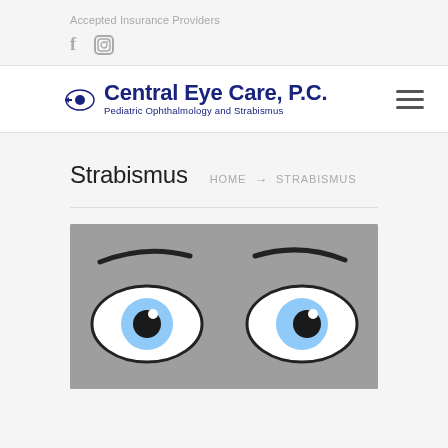Accepted Insurance Providers
[Figure (logo): Facebook and Instagram social media icons in gray]
[Figure (logo): Central Eye Care, P.C. logo with eye graphic and text 'Pediatric Ophthalmology and Strabismus']
Strabismus
HOME → STRABISMUS
[Figure (illustration): Illustration of two eyes with blue irises and dark pupils on a gray background, representing strabismus (misaligned eyes)]